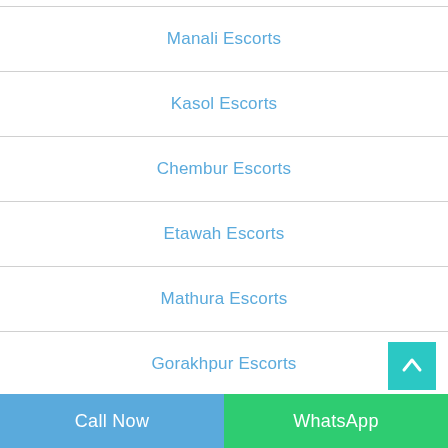Manali Escorts
Kasol Escorts
Chembur Escorts
Etawah Escorts
Mathura Escorts
Gorakhpur Escorts
Call Now | WhatsApp